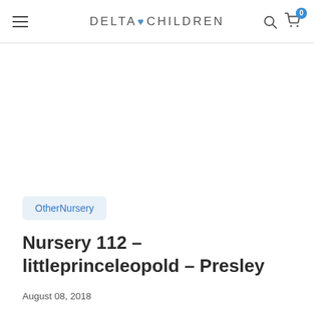DELTA CHILDREN
OtherNursery
Nursery 112 – littleprinceleopold – Presley
August 08, 2018